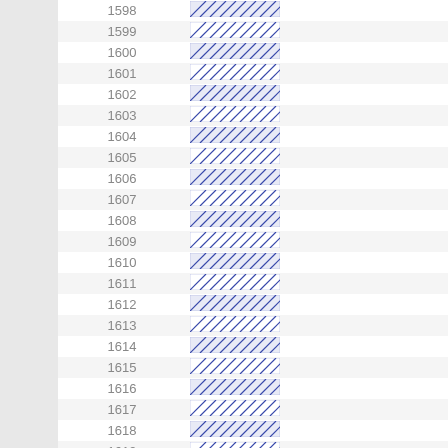| Number | Hatched Value |
| --- | --- |
| 1598 | //// |
| 1599 | //// |
| 1600 | //// |
| 1601 | //// |
| 1602 | //// |
| 1603 | //// |
| 1604 | //// |
| 1605 | //// |
| 1606 | //// |
| 1607 | //// |
| 1608 | //// |
| 1609 | //// |
| 1610 | //// |
| 1611 | //// |
| 1612 | //// |
| 1613 | //// |
| 1614 | //// |
| 1615 | //// |
| 1616 | //// |
| 1617 | //// |
| 1618 | //// |
| 1619 | //// |